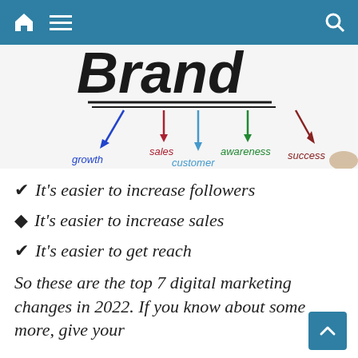Navigation bar with home, menu, and search icons
[Figure (illustration): Brand mind-map illustration showing the word 'Brand' written in bold handwriting with arrows pointing to: growth (blue arrow), sales (red arrow), customer (blue arrow), awareness (green arrow), success (dark red arrow). A hand holding a marker is visible on the right.]
✔ It's easier to increase followers
◆ It's easier to increase sales
✔ It's easier to get reach
So these are the top 7 digital marketing changes in 2022. If you know about some more, give your